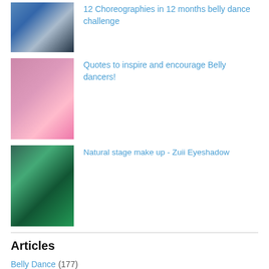[Figure (photo): Outdoor performance with dancers in blue costumes, banner in background]
12 Choreographies in 12 months belly dance challenge
[Figure (photo): Group of people in pink costumes indoors with decorations]
Quotes to inspire and encourage Belly dancers!
[Figure (photo): Two cosmetic containers (Zuii eyeshadow) on dark surface]
Natural stage make up - Zuii Eyeshadow
Articles
Belly Dance (177)
Arabic drumming (4)
Arabic language (2)